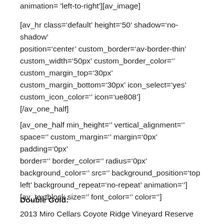animation='left-to-right'][av_image]
[av_hr class='default' height='50' shadow='no-shadow' position='center' custom_border='av-border-thin' custom_width='50px' custom_border_color='' custom_margin_top='30px' custom_margin_bottom='30px' icon_select='yes' custom_icon_color='' icon='ue808'] [/av_one_half]
[av_one_half min_height='' vertical_alignment='' space='' custom_margin='' margin='0px' padding='0px' border='' border_color='' radius='0px' background_color='' src='' background_position='top left' background_repeat='no-repeat' animation=''] [av_textblock size='' font_color='' color='']
Double Gold: 2013 Miro Cellars Coyote Ridge Vineyard Reserve Petite Sirah...